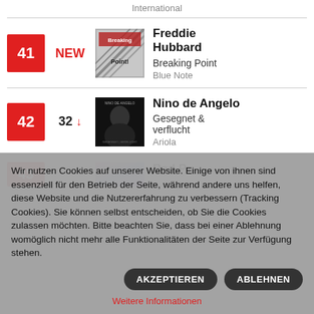International
#41 NEW — Freddie Hubbard, Breaking Point, Blue Note
#42 32 ↓ — Nino de Angelo, Gesegnet & verflucht, Ariola
#43 (partial, obscured)
Wir nutzen Cookies auf unserer Website. Einige von ihnen sind essenziell für den Betrieb der Seite, während andere uns helfen, diese Website und die Nutzererfahrung zu verbessern (Tracking Cookies). Sie können selbst entscheiden, ob Sie die Cookies zulassen möchten. Bitte beachten Sie, dass bei einer Ablehnung womöglich nicht mehr alle Funktionalitäten der Seite zur Verfügung stehen.
AKZEPTIEREN
ABLEHNEN
Weitere Informationen